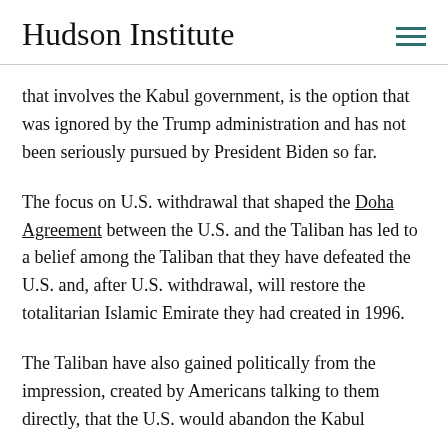Hudson Institute
that involves the Kabul government, is the option that was ignored by the Trump administration and has not been seriously pursued by President Biden so far.
The focus on U.S. withdrawal that shaped the Doha Agreement between the U.S. and the Taliban has led to a belief among the Taliban that they have defeated the U.S. and, after U.S. withdrawal, will restore the totalitarian Islamic Emirate they had created in 1996.
The Taliban have also gained politically from the impression, created by Americans talking to them directly, that the U.S. would abandon the Kabul